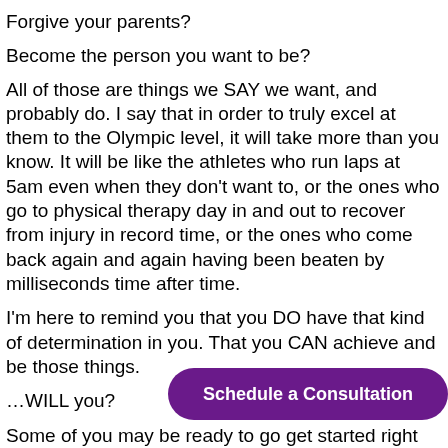Forgive your parents?
Become the person you want to be?
All of those are things we SAY we want, and probably do.  I say that in order to truly excel at them to the Olympic level, it will take more than you know.  It will be like the athletes who run laps at 5am even when they don't want to, or the ones who go to physical therapy day in and out to recover from injury in record time, or the ones who come back again and again having been beaten by milliseconds time after time.
I'm here to remind you that you DO have that kind of determination in you.  That you CAN achieve and be those things.
…WILL you?
Some of you may be ready to go get started right now.  Great!  Others may still do... Olympians, it likely takes a coach to get there.  To hold you...
[Figure (other): Purple rounded rectangle button with white bold text reading 'Schedule a Consultation']